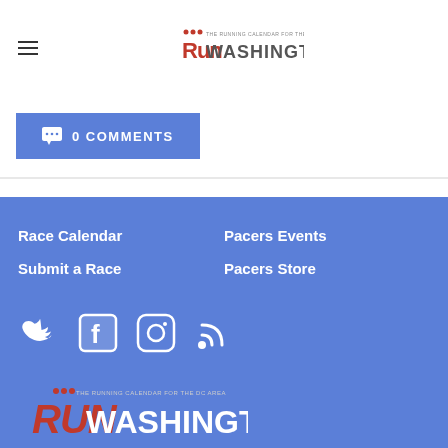RunWashington logo and hamburger menu
0 COMMENTS
Race Calendar
Submit a Race
Pacers Events
Pacers Store
[Figure (other): Social media icons: Twitter, Facebook, Instagram, RSS feed]
[Figure (logo): RunWashington logo in footer]
Washington, DC